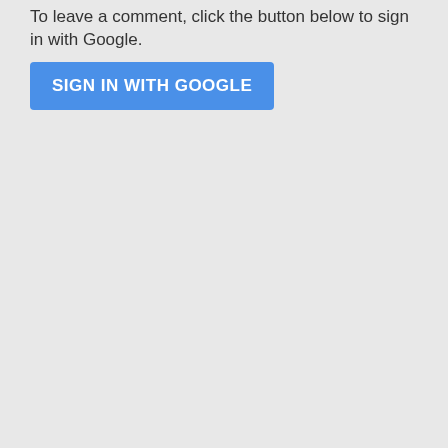To leave a comment, click the button below to sign in with Google.
[Figure (screenshot): Blue 'SIGN IN WITH GOOGLE' button]